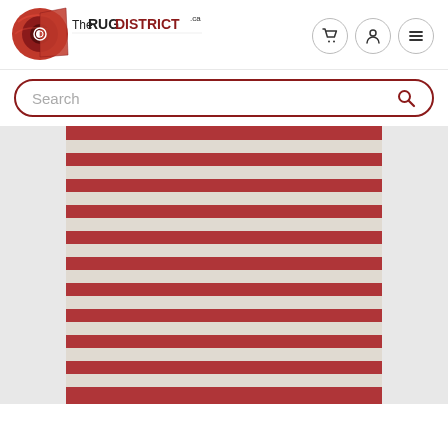[Figure (logo): The Rug District logo with a rolled rug graphic on the left and 'The RUG DISTRICT .ca' text]
[Figure (other): Header navigation icons: shopping cart, user account, and hamburger menu, each in a circle]
[Figure (other): Search bar with rounded border in dark red/maroon color, placeholder text 'Search' and a search magnifying glass icon on the right]
[Figure (photo): Product photo of a striped rug with alternating red/dark rose and cream/beige horizontal stripes, displayed against a light gray background]